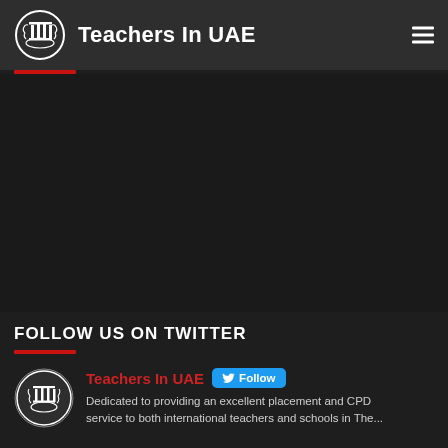Teachers In UAE
FOLLOW US ON TWITTER
Teachers In UAE Follow Dedicated to providing an excellent placement and CPD service to both international teachers and schools in The...